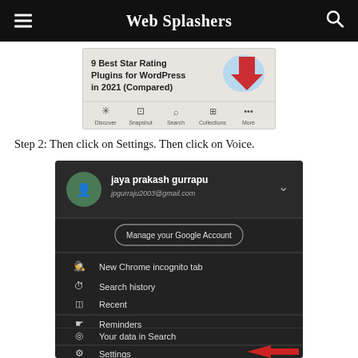Web Splashers
[Figure (screenshot): Browser screenshot showing '9 Best Star Rating Plugins for WordPress in 2021 (Compared)' with toolbar icons: Discover, Snapshot, Search, Collections, More. A red arrow points to the More (...) icon.]
Step 2: Then click on Settings. Then click on Voice.
[Figure (screenshot): Google account menu on dark background showing: jaya prakash gurrapu, jpgurraju2003@gmail.com, Manage your Google Account button, New Chrome incognito tab, Search history, Recent, Reminders, Your data in Search, Settings (with red arrow pointing to it).]